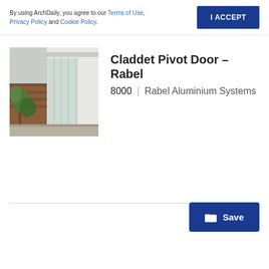By using ArchDaily, you agree to our Terms of Use, Privacy Policy and Cookie Policy.
I ACCEPT
[Figure (photo): Exterior photo of a modern building entrance featuring a large glass pivot door with white cladding and surrounding greenery]
Claddet Pivot Door – Rabel
8000 | Rabel Aluminium Systems
Save